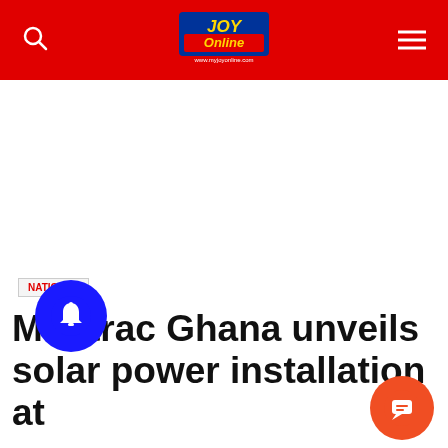Joy Online
[Figure (logo): Joy Online logo in header navigation bar with red background, search icon on left and hamburger menu on right]
Montrac Ghana unveils solar power installation at